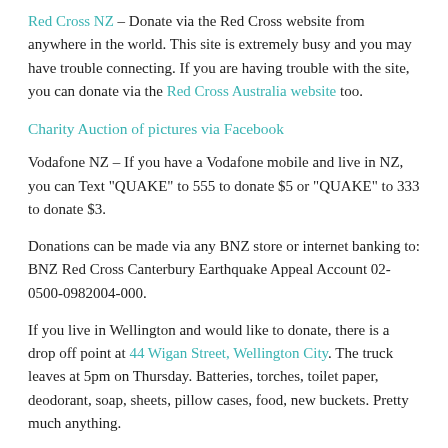Red Cross NZ – Donate via the Red Cross website from anywhere in the world. This site is extremely busy and you may have trouble connecting. If you are having trouble with the site, you can donate via the Red Cross Australia website too.
Charity Auction of pictures via Facebook
Vodafone NZ – If you have a Vodafone mobile and live in NZ, you can Text "QUAKE" to 555 to donate $5 or "QUAKE" to 333 to donate $3.
Donations can be made via any BNZ store or internet banking to: BNZ Red Cross Canterbury Earthquake Appeal Account 02-0500-0982004-000.
If you live in Wellington and would like to donate, there is a drop off point at 44 Wigan Street, Wellington City. The truck leaves at 5pm on Thursday. Batteries, torches, toilet paper, deodorant, soap, sheets, pillow cases, food, new buckets. Pretty much anything.
Google's Crisis Response Website – d…